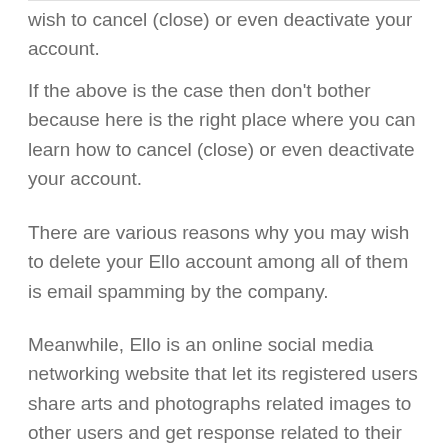wish to cancel (close) or even deactivate your account.
If the above is the case then don't bother because here is the right place where you can learn how to cancel (close) or even deactivate your account.
There are various reasons why you may wish to delete your Ello account among all of them is email spamming by the company.
Meanwhile, Ello is an online social media networking website that let its registered users share arts and photographs related images to other users and get response related to their work in the form of positive comment. The application provides an option to create or edit account information, upload picture, browse through the list of online profiles and images created or posted by the artists around the world and hire the artist by